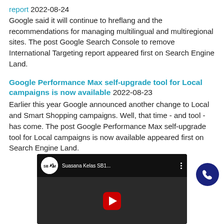report 2022-08-24
Google said it will continue to hreflang and the recommendations for managing multilingual and multiregional sites. The post Google Search Console to remove International Targeting report appeared first on Search Engine Land.
Google Performance Max self-upgrade tool for Local campaigns is now available 2022-08-23
Earlier this year Google announced another change to Local and Smart Shopping campaigns. Well, that time - and tool - has come. The post Google Performance Max self-upgrade tool for Local campaigns is now available appeared first on Search Engine Land.
[Figure (screenshot): YouTube video thumbnail showing 'Suasana Kelas SB1...' with SB1M logo, play button, and a person's face in background. Dark themed video player interface.]